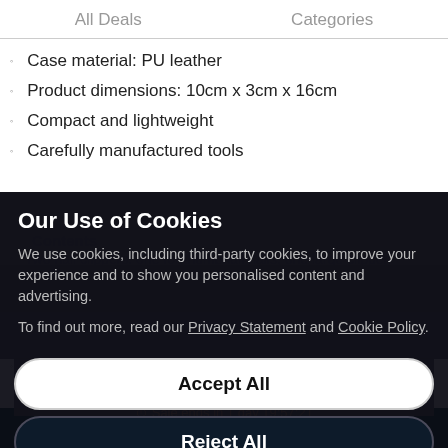All Deals    Categories
Case material: PU leather
Product dimensions: 10cm x 3cm x 16cm
Compact and lightweight
Carefully manufactured tools
Contents
Two nail clippers: one for thumbnail nails, one large clipper
One cuticle nipper
One nail file
One dead skin fork
One pair of tweezers
One pair of scissors
One push broach
One nail cleansing knife
Our Use of Cookies
We use cookies, including third-party cookies, to improve your experience and to show you personalised content and advertising.
To find out more, read our Privacy Statement and Cookie Policy.
Accept All
Reject All
My Options
Sale ends in 1 day 19:57:21